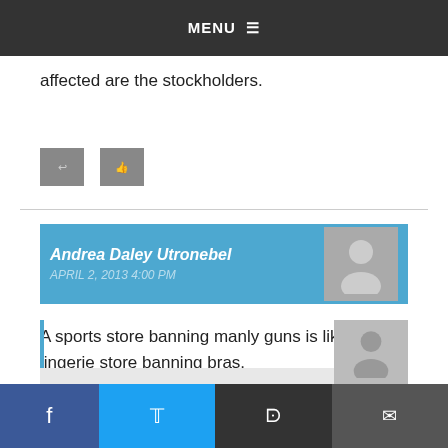MENU ☰
affected are the stockholders.
[Figure (other): Two small grey action/share buttons]
Andrea Daley Utronebel
APRIL 2, 2013 4:00 PM
A sports store banning manly guns is like a lingerie store banning bras.
[Figure (other): Two small grey action/share buttons]
[Figure (other): Social share bar: Facebook, Twitter, Reddit, Email; and peeking next comment card with avatar]